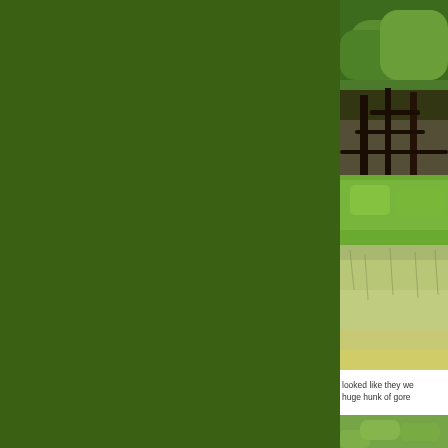[Figure (photo): Outdoor nature photo showing dense green shrubs and trees with tangled branches, with grass in the foreground. The image is cropped on the right side of the page.]
looked like they we huge hunk of gore
[Figure (photo): Partial outdoor nature photo at bottom right, showing green blurred vegetation.]